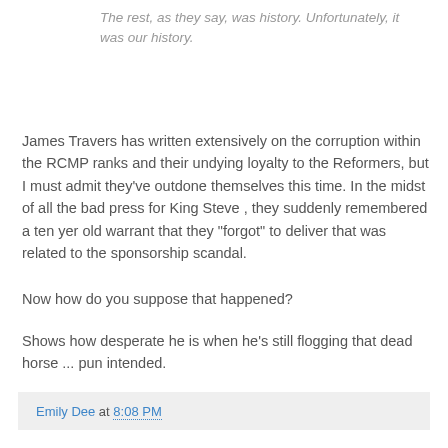The rest, as they say, was history. Unfortunately, it was our history.
James Travers has written extensively on the corruption within the RCMP ranks and their undying loyalty to the Reformers, but I must admit they've outdone themselves this time. In the midst of all the bad press for King Steve , they suddenly remembered a ten yer old warrant that they "forgot" to deliver that was related to the sponsorship scandal.
Now how do you suppose that happened?
Shows how desperate he is when he's still flogging that dead horse ... pun intended.
Emily Dee at 8:08 PM
No comments:
Post a Comment